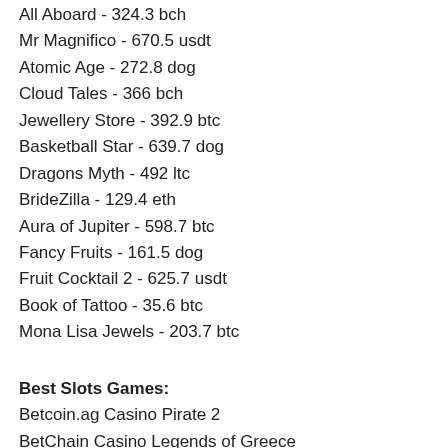All Aboard - 324.3 bch
Mr Magnifico - 670.5 usdt
Atomic Age - 272.8 dog
Cloud Tales - 366 bch
Jewellery Store - 392.9 btc
Basketball Star - 639.7 dog
Dragons Myth - 492 ltc
BrideZilla - 129.4 eth
Aura of Jupiter - 598.7 btc
Fancy Fruits - 161.5 dog
Fruit Cocktail 2 - 625.7 usdt
Book of Tattoo - 35.6 btc
Mona Lisa Jewels - 203.7 btc
Best Slots Games:
Betcoin.ag Casino Pirate 2
BetChain Casino Legends of Greece
BitStarz Casino Prissy Princess
BitcoinCasino.us Big Cash Win
1xSlots Casino Knockout